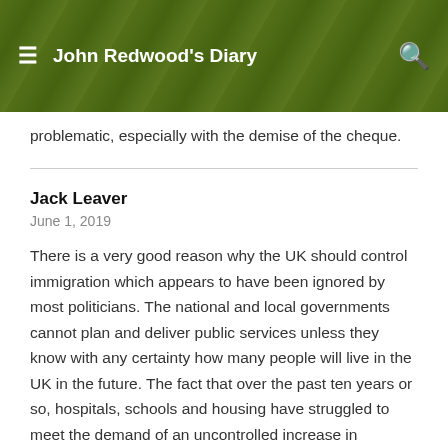John Redwood's Diary
problematic, especially with the demise of the cheque.
Jack Leaver
June 1, 2019
There is a very good reason why the UK should control immigration which appears to have been ignored by most politicians. The national and local governments cannot plan and deliver public services unless they know with any certainty how many people will live in the UK in the future. The fact that over the past ten years or so, hospitals, schools and housing have struggled to meet the demand of an uncontrolled increase in population perfectly demonstrates this.